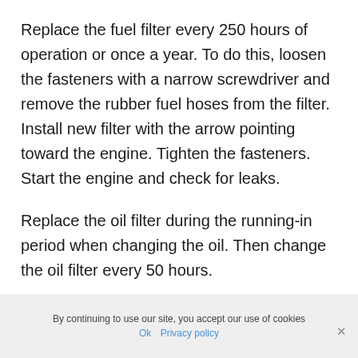Replace the fuel filter every 250 hours of operation or once a year. To do this, loosen the fasteners with a narrow screwdriver and remove the rubber fuel hoses from the filter. Install new filter with the arrow pointing toward the engine. Tighten the fasteners. Start the engine and check for leaks.
Replace the oil filter during the running-in period when changing the oil. Then change the oil filter every 50 hours.
By continuing to use our site, you accept our use of cookies  Ok  Privacy policy